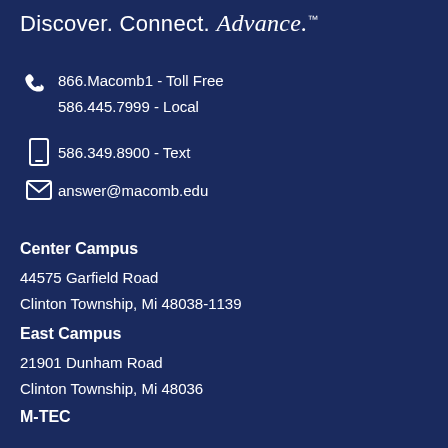Discover. Connect. Advance.
866.Macomb1 - Toll Free
586.445.7999 - Local
586.349.8900 - Text
answer@macomb.edu
Center Campus
44575 Garfield Road
Clinton Township, Mi 48038-1139
East Campus
21901 Dunham Road
Clinton Township, Mi 48036
M-TEC
7900 Tank Avenue
Warren, Mi 48092